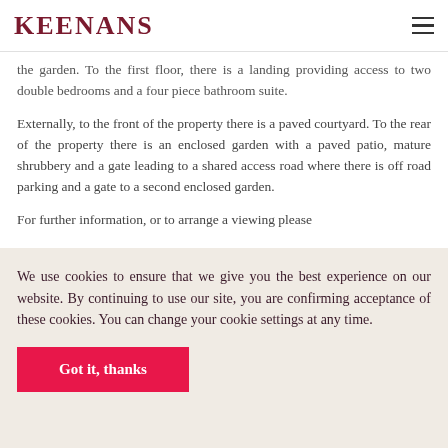KEENANS
the garden. To the first floor, there is a landing providing access to two double bedrooms and a four piece bathroom suite.
Externally, to the front of the property there is a paved courtyard. To the rear of the property there is an enclosed garden with a paved patio, mature shrubbery and a gate leading to a shared access road where there is off road parking and a gate to a second enclosed garden.
For further information, or to arrange a viewing please
We use cookies to ensure that we give you the best experience on our website. By continuing to use our site, you are confirming acceptance of these cookies. You can change your cookie settings at any time.
Got it, thanks